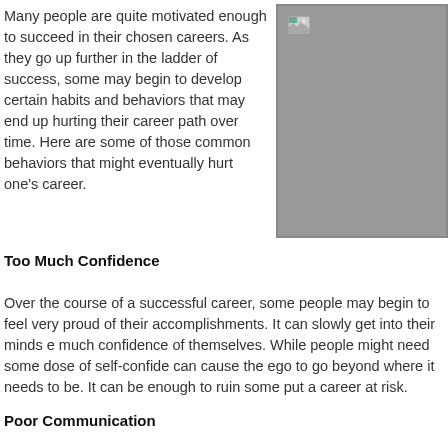Many people are quite motivated enough to succeed in their chosen careers. As they go up further in the ladder of success, some may begin to develop certain habits and behaviors that may end up hurting their career path over time. Here are some of those common behaviors that might eventually hurt one's career.
[Figure (photo): A partially loaded or broken image placeholder with gray background and small image icon in top-left corner.]
Too Much Confidence
Over the course of a successful career, some people may begin to feel very proud of their accomplishments. It can slowly get into their minds e much confidence of themselves. While people might need some dose of self-confide can cause the ego to go beyond where it needs to be. It can be enough to ruin some put a career at risk.
Poor Communication
A successful career professional usually relies on good communicating skills in order them be understood and for others to understand them. Good communicators know